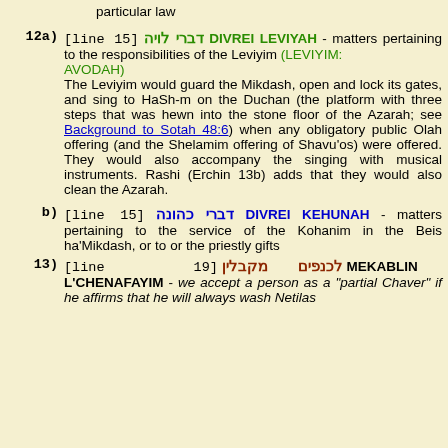particular law
12a) [line 15] דברי לויה DIVREI LEVIYAH - matters pertaining to the responsibilities of the Leviyim (LEVIYIM: AVODAH)
The Leviyim would guard the Mikdash, open and lock its gates, and sing to HaSh-m on the Duchan (the platform with three steps that was hewn into the stone floor of the Azarah; see Background to Sotah 48:6) when any obligatory public Olah offering (and the Shelamim offering of Shavu'os) were offered. They would also accompany the singing with musical instruments. Rashi (Erchin 13b) adds that they would also clean the Azarah.
b) [line 15] דברי כהונה DIVREI KEHUNAH - matters pertaining to the service of the Kohanim in the Beis ha'Mikdash, or to or the priestly gifts
13) [line 19] מקבלין לכנפים MEKABLIN L'CHENAFAYIM - we accept a person as a "partial Chaver" if he affirms that he will always wash Netilas